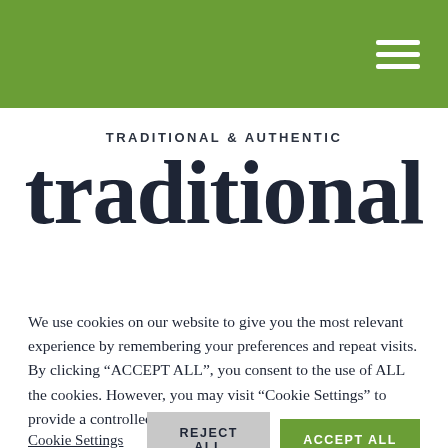Navigation header with hamburger menu icon
TRADITIONAL & AUTHENTIC
traditional
We use cookies on our website to give you the most relevant experience by remembering your preferences and repeat visits. By clicking “ACCEPT ALL”, you consent to the use of ALL the cookies. However, you may visit “Cookie Settings” to provide a controlled consent.
Cookie Settings | REJECT ALL | ACCEPT ALL